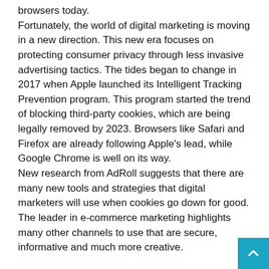browsers today. Fortunately, the world of digital marketing is moving in a new direction. This new era focuses on protecting consumer privacy through less invasive advertising tactics. The tides began to change in 2017 when Apple launched its Intelligent Tracking Prevention program. This program started the trend of blocking third-party cookies, which are being legally removed by 2023. Browsers like Safari and Firefox are already following Apple's lead, while Google Chrome is well on its way. New research from AdRoll suggests that there are many new tools and strategies that digital marketers will use when cookies go down for good. The leader in e-commerce marketing highlights many other channels to use that are secure, informative and much more creative.
Contextual targeting
Contextual targeting isn't a new digital marketing strategy, but research suggests it's making a comeback. Although often